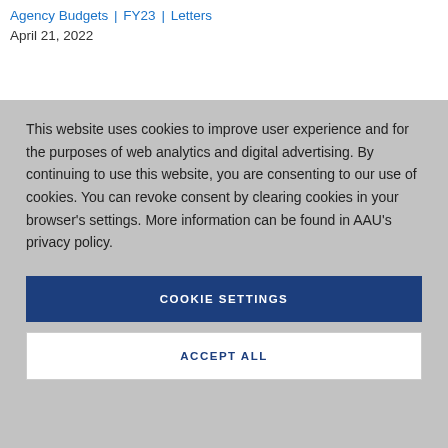Department of Education | Federal Budget | Agency Budgets | FY23 | Letters
April 21, 2022
This website uses cookies to improve user experience and for the purposes of web analytics and digital advertising. By continuing to use this website, you are consenting to our use of cookies. You can revoke consent by clearing cookies in your browser’s settings. More information can be found in AAU’s privacy policy.
COOKIE SETTINGS
ACCEPT ALL